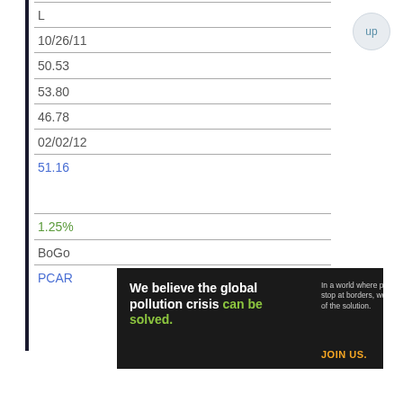| L |
| 10/26/11 |
| 50.53 |
| 53.80 |
| 46.78 |
| 02/02/12 |
| 51.16 |
|  |
| 1.25% |
| BoGo |
| PCAR |
[Figure (logo): Pure Earth advertisement banner: 'We believe the global pollution crisis can be solved.' with logo.]